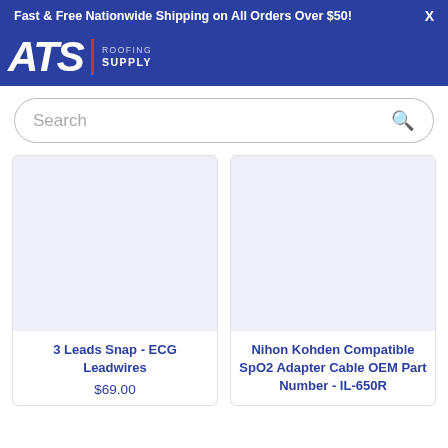Fast & Free Nationwide Shipping on All Orders Over $50!  X
[Figure (logo): ATS Roofing Supply logo — bold white italic ATS letters on blue background with red divider and SUPPLY text]
Search
[Figure (photo): Product image placeholder (light blue-grey rectangle) for 3 Leads Snap - ECG Leadwires]
[Figure (photo): Product image placeholder (light blue-grey rectangle) for Nihon Kohden Compatible SpO2 Adapter Cable OEM Part Number - IL-650R]
3 Leads Snap - ECG Leadwires
$69.00
Nihon Kohden Compatible SpO2 Adapter Cable OEM Part Number - IL-650R